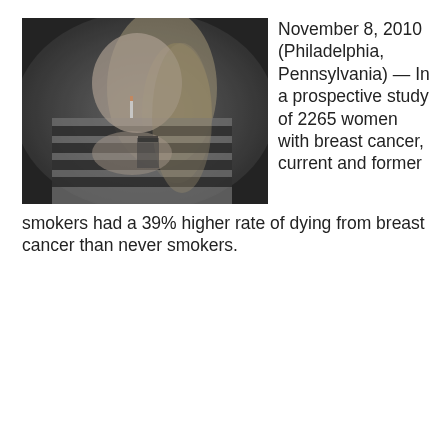[Figure (photo): Black and white photograph of a young woman with long hair lighting a cigarette]
November 8, 2010 (Philadelphia, Pennsylvania) — In a prospective study of 2265 women with breast cancer, current and former smokers had a 39% higher rate of dying from breast cancer than never smokers.